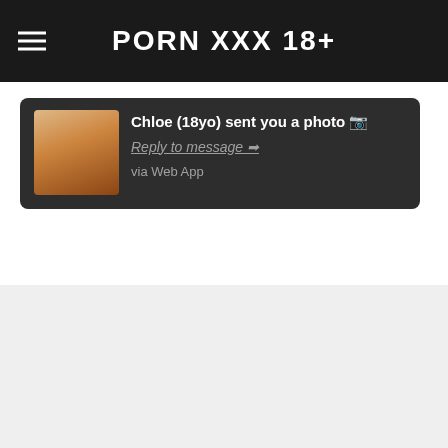PORN XXX 18+
Chloe (18yo) sent you a photo 📷
Reply to message ➡
via Web App